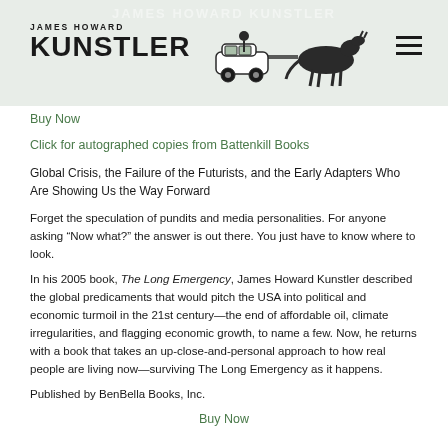JAMES HOWARD KUNSTLER
Buy Now
Click for autographed copies from Battenkill Books
Global Crisis, the Failure of the Futurists, and the Early Adapters Who Are Showing Us the Way Forward
Forget the speculation of pundits and media personalities. For anyone asking “Now what?” the answer is out there. You just have to know where to look.
In his 2005 book, The Long Emergency, James Howard Kunstler described the global predicaments that would pitch the USA into political and economic turmoil in the 21st century—the end of affordable oil, climate irregularities, and flagging economic growth, to name a few. Now, he returns with a book that takes an up-close-and-personal approach to how real people are living now—surviving The Long Emergency as it happens.
Published by BenBella Books, Inc.
Buy Now